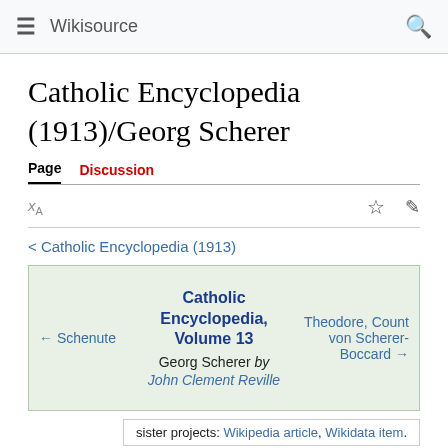Wikisource
Catholic Encyclopedia (1913)/Georg Scherer
Page | Discussion
< Catholic Encyclopedia (1913)
| ← Schenute | Catholic Encyclopedia, Volume 13
Georg Scherer by John Clement Reville | Theodore, Count von Scherer-Boccard → |
sister projects: Wikipedia article, Wikidata item.